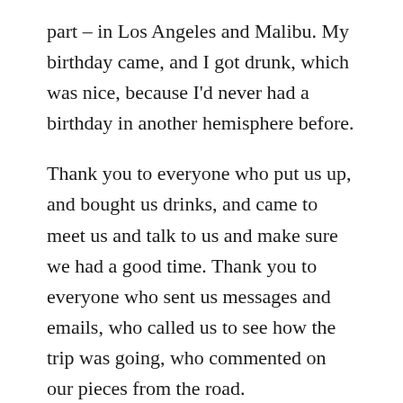part – in Los Angeles and Malibu. My birthday came, and I got drunk, which was nice, because I'd never had a birthday in another hemisphere before.
Thank you to everyone who put us up, and bought us drinks, and came to meet us and talk to us and make sure we had a good time. Thank you to everyone who sent us messages and emails, who called us to see how the trip was going, who commented on our pieces from the road.
I will never, ever, even try to pay you back.